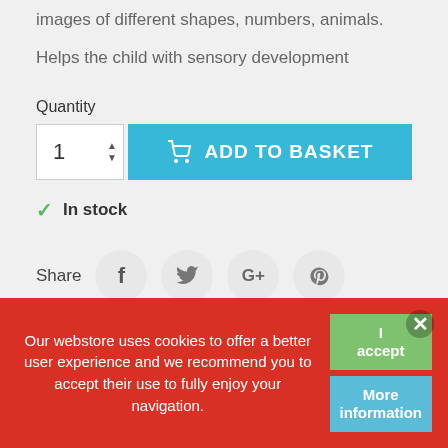images of different shapes, numbers, animals.
Helps the child with sensory development
Quantity
[Figure (screenshot): Add to basket button with quantity selector showing '1' and a blue 'ADD TO BASKET' button with shopping cart icon]
✓ In stock
[Figure (infographic): Share row with social media buttons: Facebook, Twitter, Google+, Pinterest]
★ Customer ratings and reviews
Nobody has posted a review yet
Our webstore uses cookies to offer a better user experience and we recommend you to accept their use to fully enjoy your navigation.